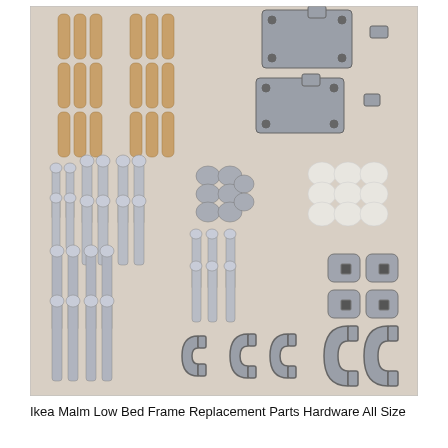[Figure (photo): A flatlay photograph on a beige/cream surface showing an assortment of IKEA Malm bed frame replacement hardware parts: wooden dowel pins arranged in two groups, metal flat bracket plates, various sizes of silver wood screws arranged in rows, small conical nuts, white plastic caps/feet, decorative knurled metal nuts, and curved C-shaped metal clips/brackets.]
Ikea Malm Low Bed Frame Replacement Parts Hardware All Size